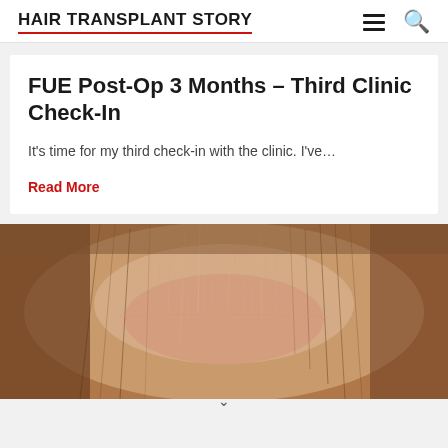HAIR TRANSPLANT STORY
FUE Post-Op 3 Months – Third Clinic Check-In
It's time for my third check-in with the clinic. I've…
Read More
[Figure (photo): Close-up photo of a scalp showing early hair regrowth after FUE hair transplant surgery, with sparse fine hairs visible over pinkish skin.]